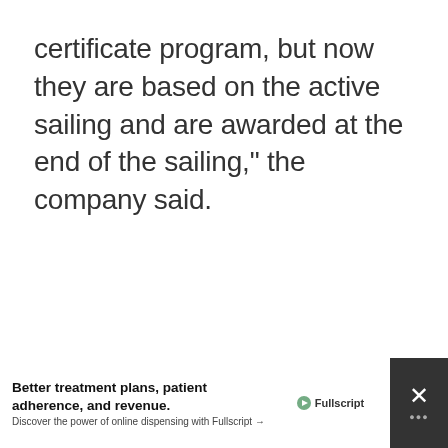certificate program, but now they are based on the active sailing and are awarded at the end of the sailing," the company said.
[Figure (other): Gray placeholder box for an image or advertisement content]
Better treatment plans, patient adherence, and revenue. Discover the power of online dispensing with Fullscript →